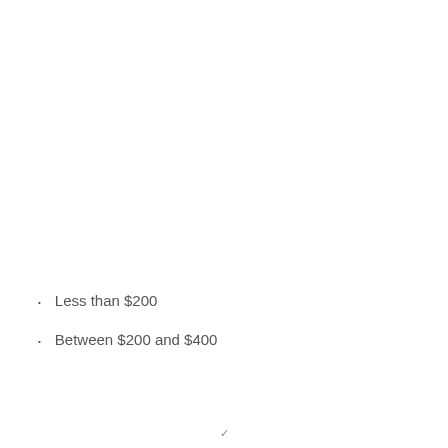Less than $200
Between $200 and $400
✓